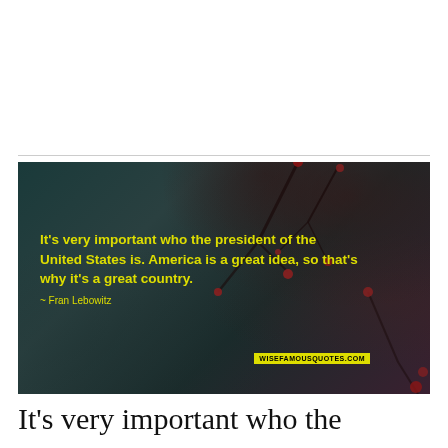[Figure (photo): Dark moody photograph of winter tree branches with red buds/berries against a dark teal background, overlaid with a quote in yellow text: 'It's very important who the president of the United States is. America is a great idea, so that's why it's a great country.' attributed to Fran Lebowitz, with wisefamousquotes.com watermark.]
It's very important who the